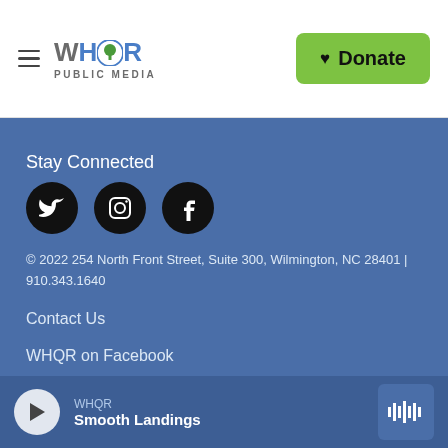WHQR PUBLIC MEDIA — Donate
Stay Connected
[Figure (illustration): Three social media icons: Twitter (bird), Instagram (camera), Facebook (f) — each in a black circle]
© 2022 254 North Front Street, Suite 300, Wilmington, NC 28401 | 910.343.1640
Contact Us
WHQR on Facebook
WHQR on Twittter
WHQR — Smooth Landings